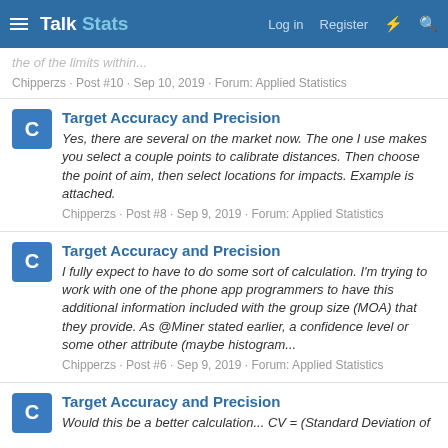Talk Stats — Log in  Register
the of the limits within...
Chipperzs · Post #10 · Sep 10, 2019 · Forum: Applied Statistics
Target Accuracy and Precision
Yes, there are several on the market now. The one I use makes you select a couple points to calibrate distances. Then choose the point of aim, then select locations for impacts. Example is attached.
Chipperzs · Post #8 · Sep 9, 2019 · Forum: Applied Statistics
Target Accuracy and Precision
I fully expect to have to do some sort of calculation. I'm trying to work with one of the phone app programmers to have this additional information included with the group size (MOA) that they provide. As @Miner stated earlier, a confidence level or some other attribute (maybe histogram...
Chipperzs · Post #6 · Sep 9, 2019 · Forum: Applied Statistics
Target Accuracy and Precision
Would this be a better calculation... CV = (Standard Deviation of